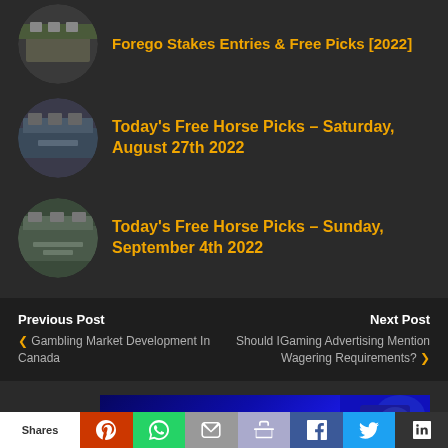Forego Stakes Entries & Free Picks [2022]
Today's Free Horse Picks – Saturday, August 27th 2022
Today's Free Horse Picks – Sunday, September 4th 2022
Previous Post
❮ Gambling Market Development In Canada
Next Post
Should IGaming Advertising Mention Wagering Requirements? ❯
[Figure (infographic): MyBookie advertisement banner: DOUBLE YOUR FIRST DEPOSIT NFL SZN with player imagery on dark blue background]
Shares | Reddit | WhatsApp | Email | Like | Facebook | Twitter | Buffer